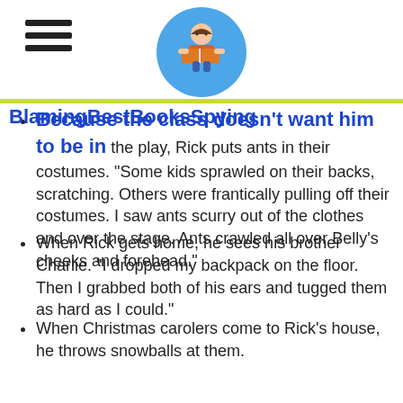BlamingBestBooksSpying
Because the class doesn't want him to be in the play, Rick puts ants in their costumes. “Some kids sprawled on their backs, scratching. Others were frantically pulling off their costumes. I saw ants scurry out of the clothes and over the stage. Ants crawled all over Belly’s cheeks and forehead.”
When Rick gets home, he sees his brother Charlie. “I dropped my backpack on the floor. Then I grabbed both of his ears and tugged them as hard as I could.”
When Christmas carolers come to Rick’s house, he throws snowballs at them.
Rick is taken to a school in the past. A kid “raised his big boot and tromped his heel down as hard as he could on top of my right sneaker. . . pain shot up my leg, up my entire body. . . The pain was unbearable.”
When a girl laughs at Rick, he “grabbed the back of her hair and gave it a tug. You know. Playful. Not too hard.” The girl